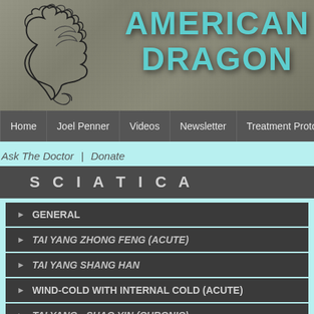[Figure (logo): American Dragon website header with dragon logo on left and teal 'AMERICAN DRAGON' text on wood-textured background]
Home | Joel Penner | Videos | Newsletter | Treatment Protocols | Tu...
Ask The Doctor | Donate
SCIATICA
GENERAL
TAI YANG ZHONG FENG (ACUTE)
TAI YANG SHANG HAN
WIND-COLD WITH INTERNAL COLD (ACUTE)
TAI YANG - SHAO YIN (CHRONIC)
TAI YANG, YANG MING, SHAO YIN HEAT
SHAO YANG - YANG MING